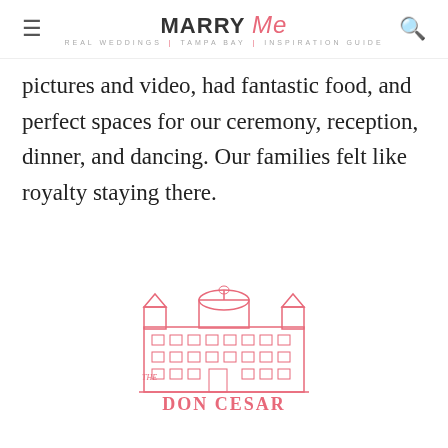MARRY Me TAMPA BAY
pictures and video, had fantastic food, and perfect spaces for our ceremony, reception, dinner, and dancing. Our families felt like royalty staying there.
[Figure (logo): The Don CeSar hotel logo in pink/coral color showing an illustrated building facade with the text 'THE DON CESAR']